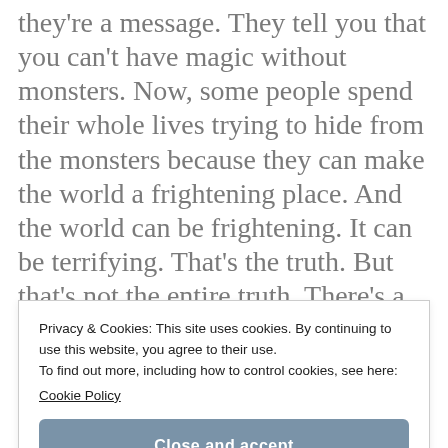they're a message. They tell you that you can't have magic without monsters. Now, some people spend their whole lives trying to hide from the monsters because they can make the world a frightening place. And the world can be frightening. It can be terrifying. That's the truth. But that's not the entire truth. There's a difference.... The entire truth is that anything is possible... not just the awful things.... here's so much to see and explore, if only we're open to it. If only we're
Privacy & Cookies: This site uses cookies. By continuing to use this website, you agree to their use. To find out more, including how to control cookies, see here: Cookie Policy
Close and accept
of the Unbelievable FIB